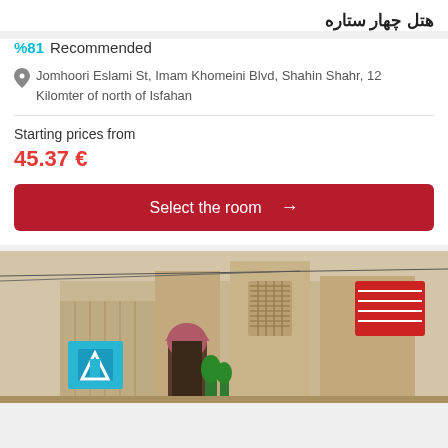هتل چهار ستاره
%81  Recommended
Jomhoori Eslami St, Imam Khomeini Blvd, Shahin Shahr, 12 Kilomter of north of Isfahan
Starting prices from
45.37 €
Select the room →
[Figure (photo): Exterior photo of a traditional Iranian-style building with beige/sandy walls, arched doorways, a pink/mauve arched entrance, a blue logo sign on the left, and a red banner sign on the right. Green plants visible near the entrance.]